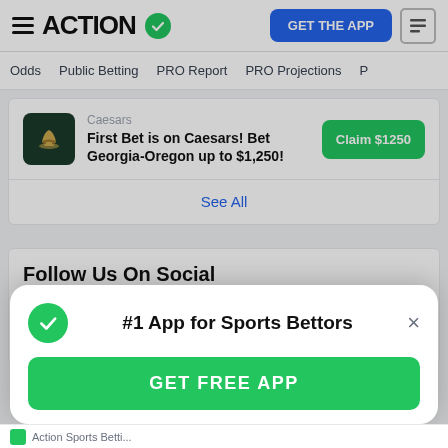ACTION
Odds | Public Betting | PRO Report | PRO Projections
Caesars
First Bet is on Caesars! Bet Georgia-Oregon up to $1,250!
See All
Follow Us On Social
FACEBOOK | TWITTER | INSTAGRAM
#1 App for Sports Bettors
GET FREE APP